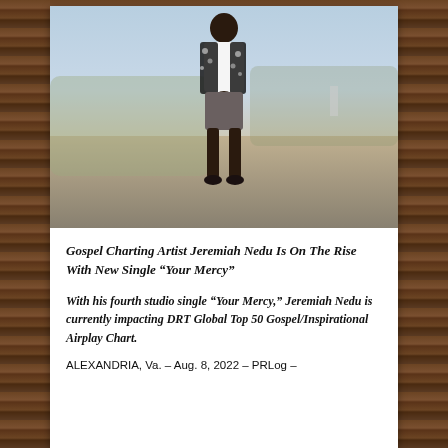[Figure (photo): A man wearing a black and white floral shirt and gray shorts standing on rocky terrain near the water, hands clasped together in front of him, with vegetation and a blurred background.]
Gospel Charting Artist Jeremiah Nedu Is On The Rise With New Single “Your Mercy”
With his fourth studio single “Your Mercy,” Jeremiah Nedu is currently impacting DRT Global Top 50 Gospel/Inspirational Airplay Chart.
ALEXANDRIA, Va. – Aug. 8, 2022 – PRLog –